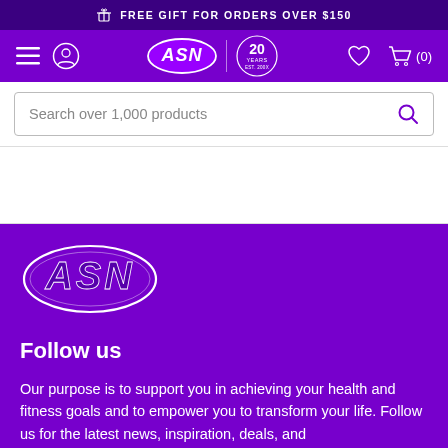FREE GIFT FOR ORDERS OVER $150
[Figure (logo): ASN logo and 20 Years badge in purple navigation bar with hamburger menu, user icon, heart, and cart icons]
Search over 1,000 products
[Figure (logo): ASN logo - large white oval with purple italic ASN text, on purple background]
Follow us
Our purpose is to support you in achieving your health and fitness goals and to empower you to transform your life. Follow us for the latest news, inspiration, deals, and